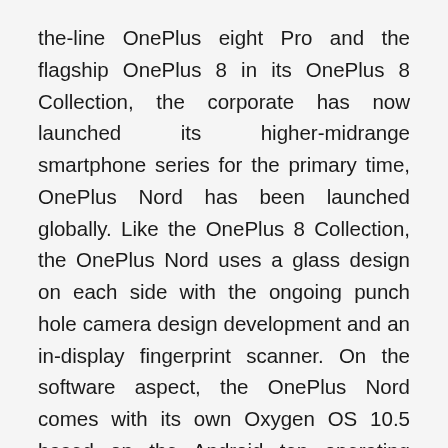the-line OnePlus eight Pro and the flagship OnePlus 8 in its OnePlus 8 Collection, the corporate has now launched its higher-midrange smartphone series for the primary time, OnePlus Nord has been launched globally. Like the OnePlus 8 Collection, the OnePlus Nord uses a glass design on each side with the ongoing punch hole camera design development and an in-display fingerprint scanner. On the software aspect, the OnePlus Nord comes with its own Oxygen OS 10.5 based on the Android ten operating system, just like the flagship OnePlus eight Series.
The telephone also comes in Gray Sierra color inspired by the shiny chassis of luxury sports cars, and the 3D AG glass feels thinner and extra rounded. We're excited to finally carry a more